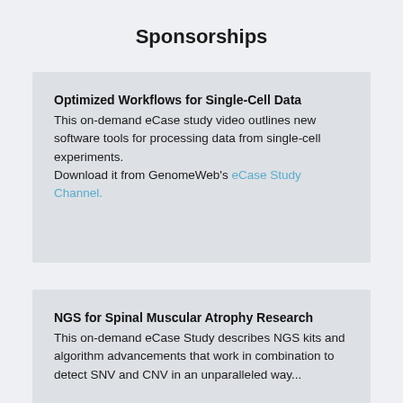Sponsorships
Optimized Workflows for Single-Cell Data
This on-demand eCase study video outlines new software tools for processing data from single-cell experiments.
Download it from GenomeWeb’s eCase Study Channel.
NGS for Spinal Muscular Atrophy Research
This on-demand eCase Study describes NGS kits and algorithm advancements that work in combination to detect SNV and CNV in an unparalleled way...